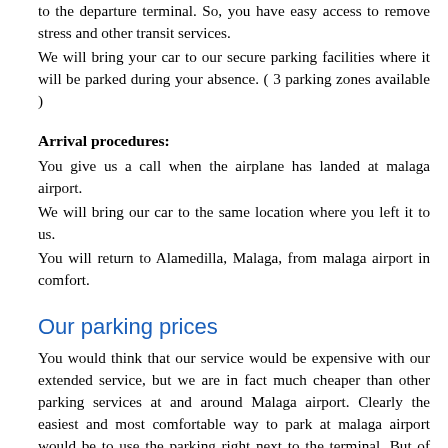to the departure terminal. So, you have easy access to remove stress and other transit services.
We will bring your car to our secure parking facilities where it will be parked during your absence. ( 3 parking zones available )
Arrival procedures:
You give us a call when the airplane has landed at malaga airport.
We will bring our car to the same location where you left it to us.
You will return to Alamedilla, Malaga, from malaga airport in comfort.
Our parking prices
You would think that our service would be expensive with our extended service, but we are in fact much cheaper than other parking services at and around Malaga airport. Clearly the easiest and most comfortable way to park at malaga airport would be to use the parking right next to the terminal. But of course, it is very expensive. So, our solution is valet parking. You will have the same experience as of parking at the airport but with a huge cut in price. Read more about our parking